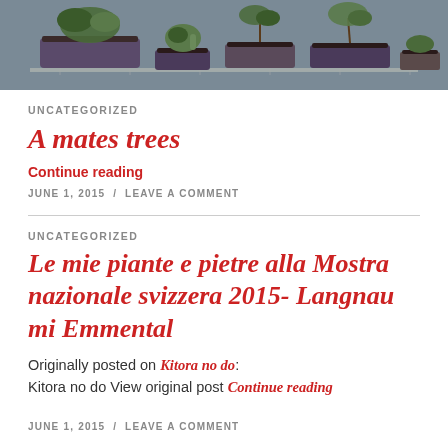[Figure (photo): Photo of several bonsai trees/plants in dark rectangular pots arranged on a wire shelf or rack, with a gray-blue background.]
UNCATEGORIZED
A mates trees
Continue reading
JUNE 1, 2015 / LEAVE A COMMENT
UNCATEGORIZED
Le mie piante e pietre alla Mostra nazionale svizzera 2015- Langnau mi Emmental
Originally posted on Kitora no do: Kitora no do View original post Continue reading
JUNE 1, 2015 / LEAVE A COMMENT